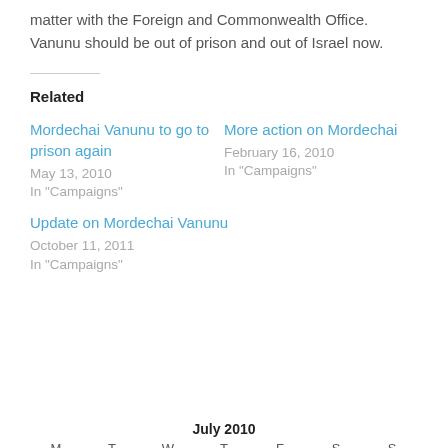matter with the Foreign and Commonwealth Office. Vanunu should be out of prison and out of Israel now.
Related
Mordechai Vanunu to go to prison again
May 13, 2010
In "Campaigns"
More action on Mordechai
February 16, 2010
In "Campaigns"
Update on Mordechai Vanunu
October 11, 2011
In "Campaigns"
| M | T | W | T | F | S | S |
| --- | --- | --- | --- | --- | --- | --- |